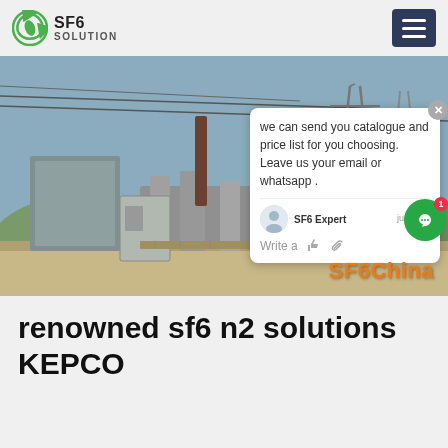SF6 SOLUTION
[Figure (photo): Electrical substation exterior with SF6 gas-insulated switchgear equipment, high-voltage transmission towers in background. SF6China watermark in bottom-right corner. Overlaid chat popup widget saying 'we can send you catalogue and price list for you choosing. Leave us your email or whatsapp .' with SF6 Expert label and 'just now' timestamp.]
renowned sf6 n2 solutions KEPCO